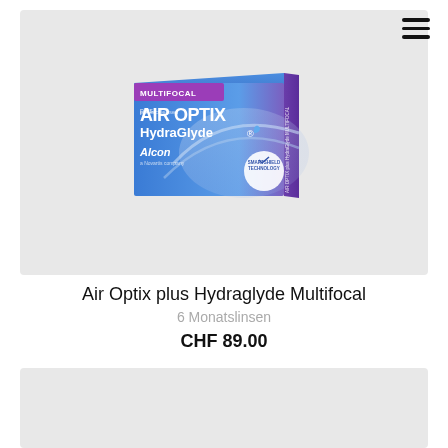[Figure (photo): Air Optix plus HydraGlyde Multifocal contact lens box by Alcon — blue and purple packaging with 'MULTIFOCAL' label in pink/purple, 'AIR OPTIX plus HydraGlyde' branding, Alcon/Novartis logo, and SmartShield Technology badge.]
Air Optix plus Hydraglyde Multifocal
6 Monatslinsen
CHF 89.00
[Figure (photo): Partial view of another product image (gray background, bottom of page, content not fully visible).]